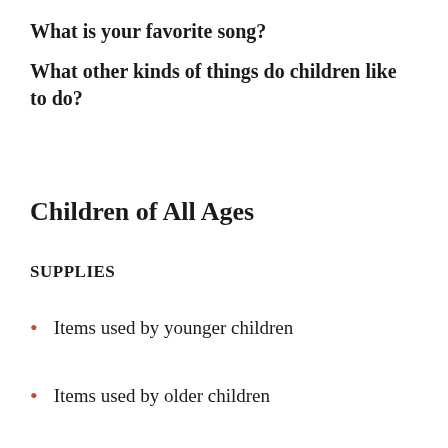What is your favorite song?
What other kinds of things do children like to do?
Children of All Ages
SUPPLIES
Items used by younger children
Items used by older children